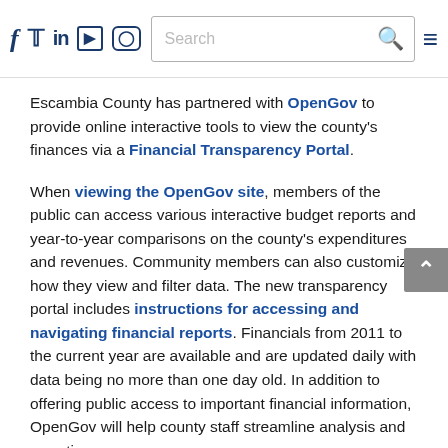Social media icons (f, Twitter, LinkedIn, YouTube, Instagram), Search bar, Hamburger menu
Escambia County has partnered with OpenGov to provide online interactive tools to view the county's finances via a Financial Transparency Portal.
When viewing the OpenGov site, members of the public can access various interactive budget reports and year-to-year comparisons on the county's expenditures and revenues. Community members can also customize how they view and filter data. The new transparency portal includes instructions for accessing and navigating financial reports. Financials from 2011 to the current year are available and are updated daily with data being no more than one day old. In addition to offering public access to important financial information, OpenGov will help county staff streamline analysis and reporting.
"Prior to partnering with OpenGov, Escambia County relied upon spreadsheets to manage its budgeting and planning process," said Interim County Administrator Wes Moreno. "OpenGov modernizes the budgeting process by offering financial reporting tools which are available for everyone to view. Escambia County is proud to